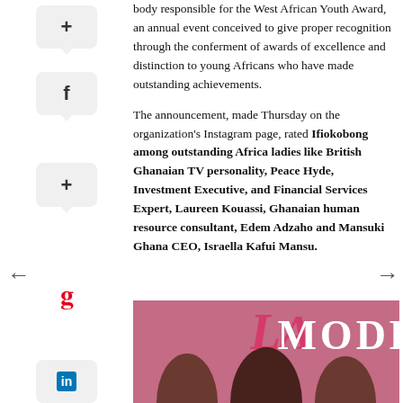body responsible for the West African Youth Award, an annual event conceived to give proper recognition through the conferment of awards of excellence and distinction to young Africans who have made outstanding achievements.
The announcement, made Thursday on the organization's Instagram page, rated Ifiokobong among outstanding Africa ladies like British Ghanaian TV personality, Peace Hyde, Investment Executive, and Financial Services Expert, Laureen Kouassi, Ghanaian human resource consultant, Edem Adzaho and Mansuki Ghana CEO, Israella Kafui Mansu.
[Figure (photo): Magazine cover showing women with text 'LA MODE' in large pink and white letters on a pink background]